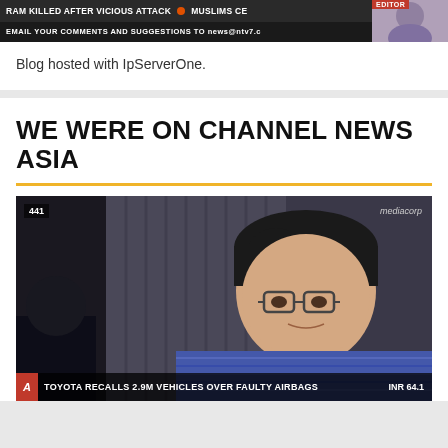[Figure (screenshot): News banner screenshot showing ticker text: 'RAM KILLED AFTER VICIOUS ATTACK' and 'MUSLIMS CE' with red dot separator, second line: 'EMAIL YOUR COMMENTS AND SUGGESTIONS TO news@ntv7.c', with editor image on right side]
Blog hosted with IpServerOne.
WE WERE ON CHANNEL NEWS ASIA
[Figure (screenshot): TV screenshot from Channel News Asia (mediacorp) showing a man with glasses and dark hair wearing a striped shirt, channel badge '441' in top left, 'mediacorp' watermark top right, ticker at bottom: 'TOYOTA RECALLS 2.9M VEHICLES OVER FAULTY AIRBAGS' with 'INR 64.1' on right]